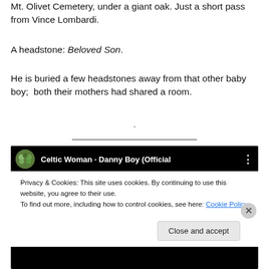Mt. Olivet Cemetery, under a giant oak. Just a short pass from Vince Lombardi.
A headstone: Beloved Son.
He is buried a few headstones away from that other baby boy;  both their mothers had shared a room.
.
[Figure (other): A horizontal divider line]
[Figure (screenshot): Embedded video thumbnail: Celtic Woman - Danny Boy (Official) with a cookie consent banner overlay. The banner reads: Privacy & Cookies: This site uses cookies. By continuing to use this website, you agree to their use. To find out more, including how to control cookies, see here: Cookie Policy. A 'Close and accept' button appears at the bottom right.]